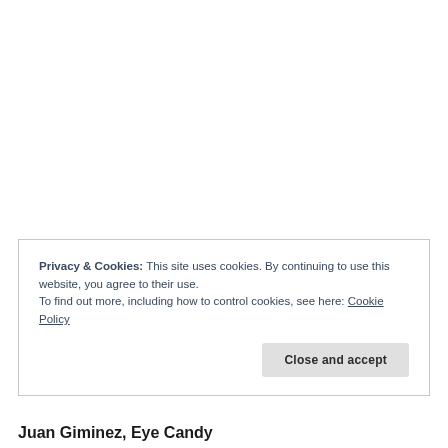Privacy & Cookies: This site uses cookies. By continuing to use this website, you agree to their use.
To find out more, including how to control cookies, see here: Cookie Policy
Close and accept
Juan Giminez, Eye Candy